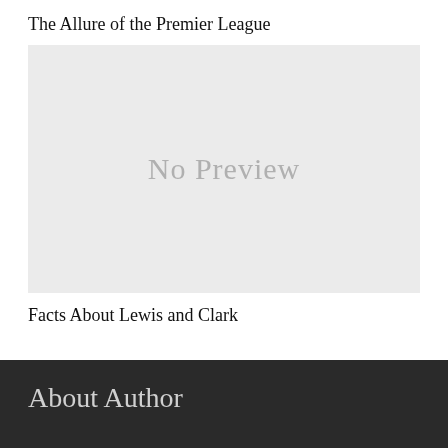The Allure of the Premier League
[Figure (other): No Preview placeholder image box with light gray background and 'No Preview' text in gray]
Facts About Lewis and Clark
About Author